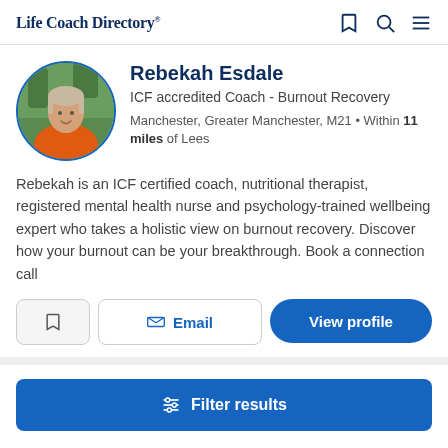Life Coach Directory
[Figure (photo): Circular profile photo of Rebekah Esdale, a woman wearing an orange top, with greenery in the background, framed by a blue circle border]
Rebekah Esdale
ICF accredited Coach - Burnout Recovery
Manchester, Greater Manchester, M21 • Within 11 miles of Lees
Rebekah is an ICF certified coach, nutritional therapist, registered mental health nurse and psychology-trained wellbeing expert who takes a holistic view on burnout recovery. Discover how your burnout can be your breakthrough. Book a connection call
Email
View profile
Filter results